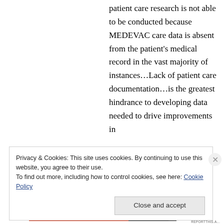patient care research is not able to be conducted because MEDEVAC care data is absent from the patient's medical record in the vast majority of instances…Lack of patient care documentation…is the greatest hindrance to developing data needed to drive improvements in
Privacy & Cookies: This site uses cookies. By continuing to use this website, you agree to their use. To find out more, including how to control cookies, see here: Cookie Policy